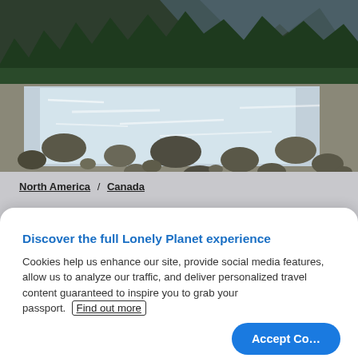[Figure (photo): Mountain river scene with rocky riverbed, white water rapids, and conifer forest with mountains in the background]
North America / Canada
British Columbia
Visitors to Canada's westernmost province should check a list of
Discover the full Lonely Planet experience
Cookies help us enhance our site, provide social media features, allow us to analyze our traffic, and deliver personalized travel content guaranteed to inspire you to grab your passport.  Find out more